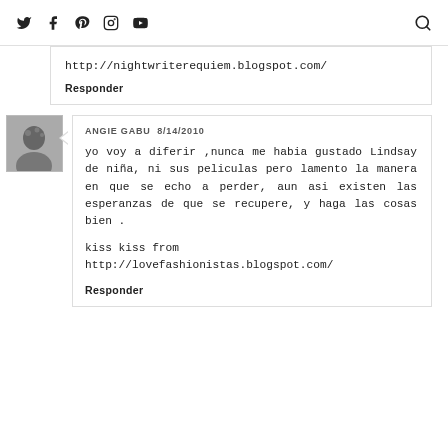Social media navigation icons and search
http://nightwriterequiem.blogspot.com/
Responder
ANGIE GABU 8/14/2010
yo voy a diferir ,nunca me habia gustado Lindsay de niña, ni sus peliculas pero lamento la manera en que se echo a perder, aun asi existen las esperanzas de que se recupere, y haga las cosas bien .
kiss kiss from http://lovefashionistas.blogspot.com/
Responder